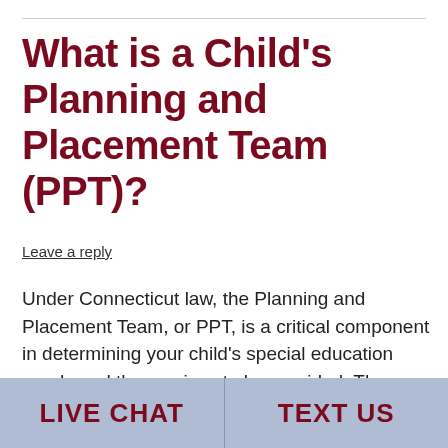What is a Child's Planning and Placement Team (PPT)?
Leave a reply
Under Connecticut law, the Planning and Placement Team, or PPT, is a critical component in determining your child's special education needs and the services to be provided. The IDEA refers to this resource as the Individualized Education Program Team (“IEP Team”). The PPT will be involved in most every request or decision made
LIVE CHAT   TEXT US